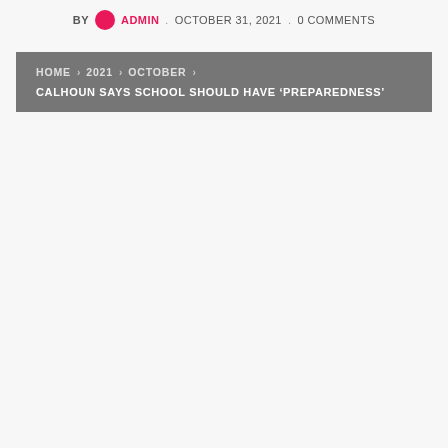BY ADMIN . OCTOBER 31, 2021 . 0 COMMENTS
HOME > 2021 > OCTOBER > CALHOUN SAYS SCHOOL SHOULD HAVE 'PREPAREDNESS'